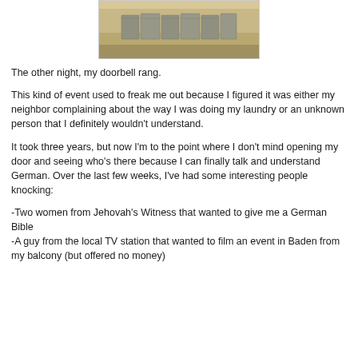[Figure (photo): A photograph showing a row of large stone or concrete blocks/containers arranged in a line, on a sandy or dusty ground.]
The other night, my doorbell rang.
This kind of event used to freak me out because I figured it was either my neighbor complaining about the way I was doing my laundry or an unknown person that I definitely wouldn't understand.
It took three years, but now I'm to the point where I don't mind opening my door and seeing who's there because I can finally talk and understand German. Over the last few weeks, I've had some interesting people knocking:
-Two women from Jehovah's Witness that wanted to give me a German Bible
-A guy from the local TV station that wanted to film an event in Baden from my balcony (but offered no money)